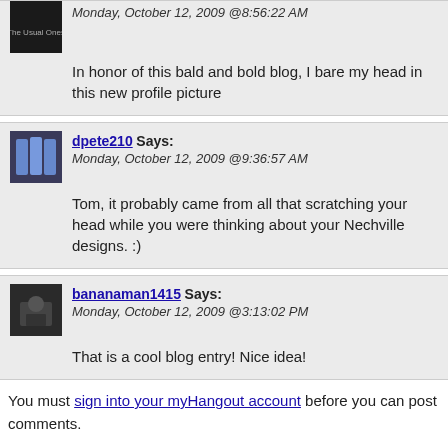Monday, October 12, 2009 @8:56:22 AM
In honor of this bald and bold blog, I bare my head in this new profile picture
dpete210 Says: Monday, October 12, 2009 @9:36:57 AM
Tom, it probably came from all that scratching your head while you were thinking about your Nechville designs. :)
bananaman1415 Says: Monday, October 12, 2009 @3:13:02 PM
That is a cool blog entry! Nice idea!
You must sign into your myHangout account before you can post comments.